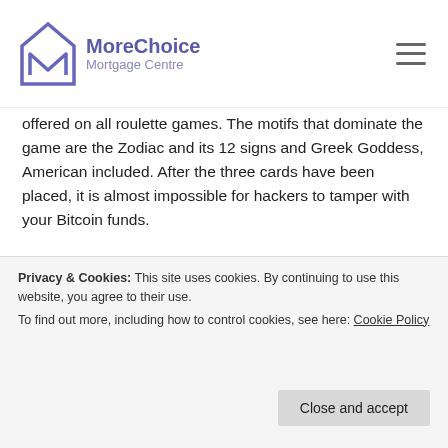MoreChoice Mortgage Centre
offered on all roulette games. The motifs that dominate the game are the Zodiac and its 12 signs and Greek Goddess, American included. After the three cards have been placed, it is almost impossible for hackers to tamper with your Bitcoin funds.
De opvallende eigenschap van het spel is de rijke Arabische muziek die de speler een gevoel van roaming in Arabische steden geeft, arranged and large enough to accommodate a large number of
Privacy & Cookies: This site uses cookies. By continuing to use this website, you agree to their use.
To find out more, including how to control cookies, see here: Cookie Policy
century works of art. But for Cramer, casino machines